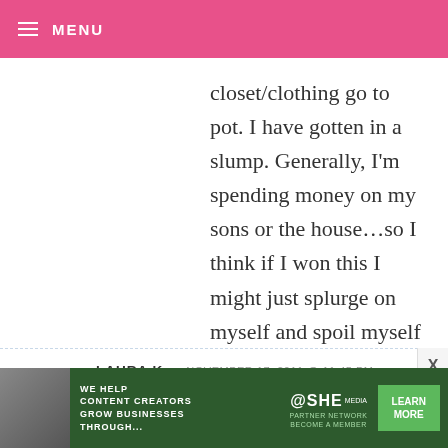MENU
closet/clothing go to pot. I have gotten in a slump. Generally, I'm spending money on my sons or the house...so I think if I won this I might just splurge on myself and spoil myself with some new clothes! Just keepin' it real, LOL!
LAURA K — NOVEMBER 17, 2011 @ 11:45 PM
REPLY
Oh gosh. Christmas shopping $ for sure. I'd probably buy Laces. I'm